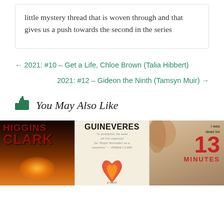little mystery thread that is woven through and that gives us a push towards the second in the series
← 2021: #10 – Get a Life, Chloe Brown (Talia Hibbert)
2021: #12 – Gideon the Ninth (Tamsyn Muir) →
👍 You May Also Like
[Figure (photo): Three book covers: Higgins Clark, Guineveres (a novel), and 13 Minutes]